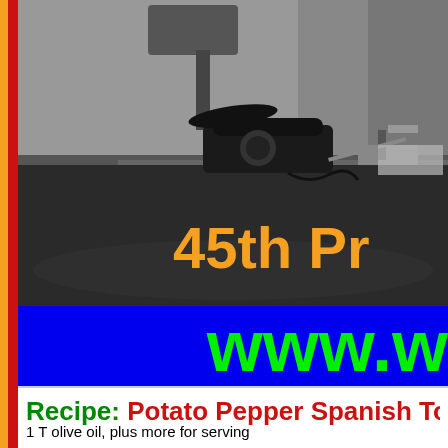[Figure (photo): Black and white photo of a desk with a rotary telephone, chair in background, and text overlay reading '45th Pr' in orange]
[Figure (other): Blue banner with 'www.w' text in bright green large font]
Recipe: Potato Pepper Spanish Tortil
1 T olive oil, plus more for serving
1 lb Yukon Gold potatoes, sliced 1/4" thick
1 pepper, ribs and seeds removed, thinly sliced
1 medium onion, halved and thinly sliced
Coarse salt and ground pepper